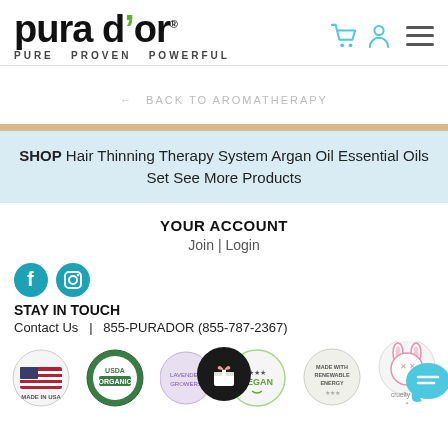[Figure (logo): Pura d'or logo with green leaf accent and tagline PURE PROVEN POWERFUL]
← BACK TO AROMATHERAPY
SHOP Hair Thinning Therapy System Argan Oil Essential Oils Set See More Products
YOUR ACCOUNT
Join | Login
STAY IN TOUCH
Contact Us   |   855-PURADOR (855-787-2367)
[Figure (logo): Row of certification badges: Made in USA flag, USDA Organic, Lavender Growers, Vegan, Made with Renewable Energy, Cruelty Free]
[Figure (other): Social media icons: Facebook and Instagram circles in teal]
[Figure (other): Floating gift/reward icon button (dark circle) and teal chat bubble in bottom right]